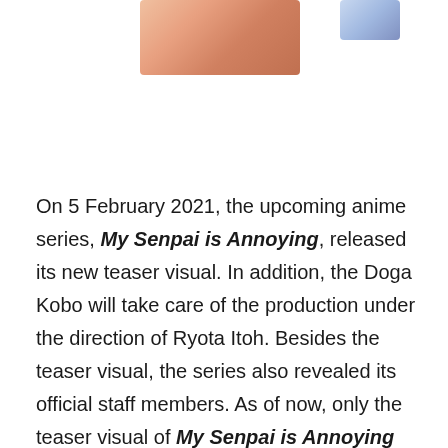[Figure (illustration): Partial anime illustration showing characters, cropped at top of page]
On 5 February 2021, the upcoming anime series, My Senpai is Annoying, released its new teaser visual. In addition, the Doga Kobo will take care of the production under the direction of Ryota Itoh. Besides the teaser visual, the series also revealed its official staff members. As of now, only the teaser visual of My Senpai is Annoying has been released while we wait for final announcements regarding the broadcast